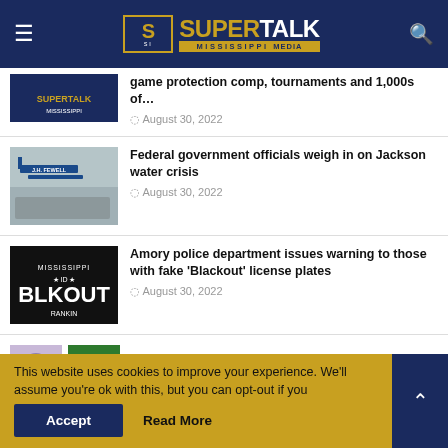SuperTalk Mississippi Media
game protection comp, tournaments and 1,000s of… — August 30, 2022
Federal government officials weigh in on Jackson water crisis — August 30, 2022
Amory police department issues warning to those with fake 'Blackout' license plates — August 30, 2022
Jackson colleges and universities go virtual
This website uses cookies to improve your experience. We'll assume you're ok with this, but you can opt-out if you wish.